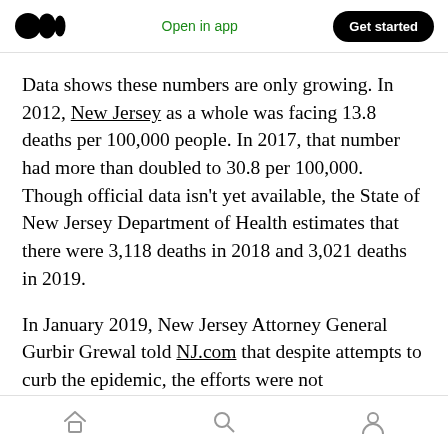Open in app | Get started
Data shows these numbers are only growing. In 2012, New Jersey as a whole was facing 13.8 deaths per 100,000 people. In 2017, that number had more than doubled to 30.8 per 100,000. Though official data isn't yet available, the State of New Jersey Department of Health estimates that there were 3,118 deaths in 2018 and 3,021 deaths in 2019.
In January 2019, New Jersey Attorney General Gurbir Grewal told NJ.com that despite attempts to curb the epidemic, the efforts were not
Home | Search | Profile